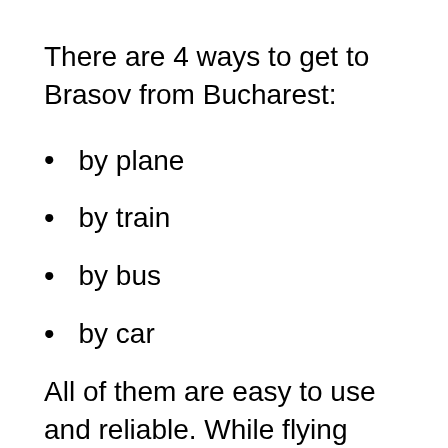There are 4 ways to get to Brasov from Bucharest:
by plane
by train
by bus
by car
All of them are easy to use and reliable. While flying from one place to another will be the fastest way for cities far away from one another, renting a car and driving or taking a bus might be a better option for cities at